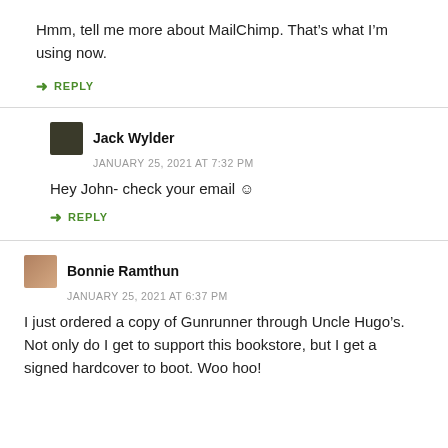Hmm, tell me more about MailChimp. That’s what I’m using now.
↳ REPLY
Jack Wylder
JANUARY 25, 2021 AT 7:32 PM
Hey John- check your email ☺
↳ REPLY
Bonnie Ramthun
JANUARY 25, 2021 AT 6:37 PM
I just ordered a copy of Gunrunner through Uncle Hugo’s. Not only do I get to support this bookstore, but I get a signed hardcover to boot. Woo hoo!